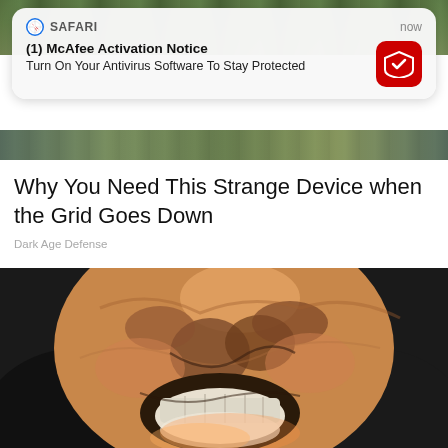[Figure (screenshot): Mobile browser notification from Safari showing McAfee Activation Notice overlay on a webpage with article and distorted face image below]
(1) McAfee Activation Notice
Turn On Your Antivirus Software To Stay Protected
Why You Need This Strange Device when the Grid Goes Down
Dark Age Defense
[Figure (photo): Distorted/digitally painted close-up image of a person's face with an open mouth showing teeth, with exaggerated digital art style]